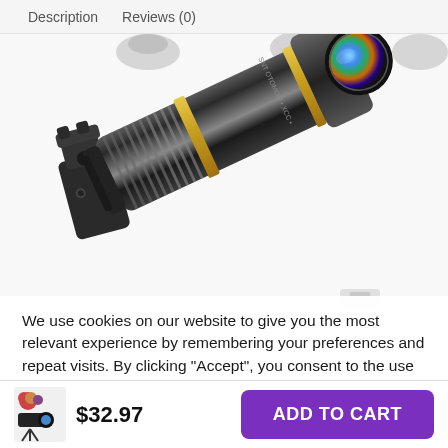Description   Reviews (0)
[Figure (photo): A black metallic telescopic camera lens with gold ring and colorful multi-coated front element, attached to a black clip mount, shown at an angle against a white background. Small product thumbnail images visible at top.]
We use cookies on our website to give you the most relevant experience by remembering your preferences and repeat visits. By clicking “Accept”, you consent to the use of ALL the cookies.
Do not sell my personal information.
[Figure (photo): Small product thumbnail showing camera lens accessories set]
$32.97
ADD TO CART